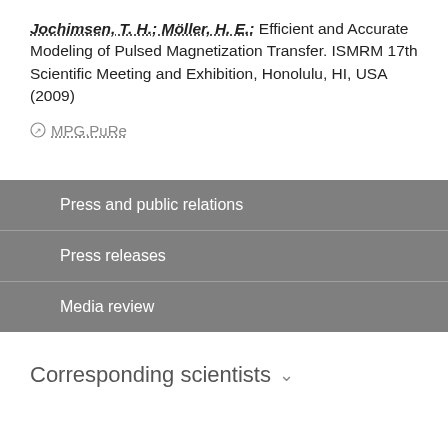Jochimsen, T. H.; Möller, H. E.: Efficient and Accurate Modeling of Pulsed Magnetization Transfer. ISMRM 17th Scientific Meeting and Exhibition, Honolulu, HI, USA (2009)
MPG.PuRe
Press and public relations
Press releases
Media review
Corresponding scientists